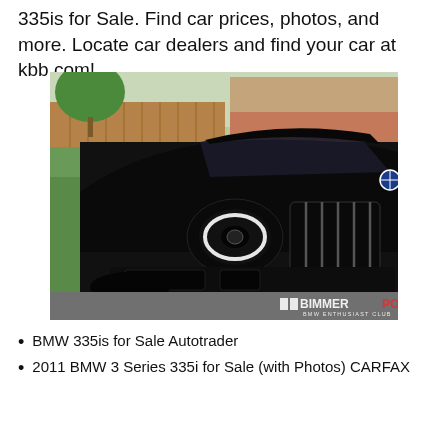335is for Sale. Find car prices, photos, and more. Locate car dealers and find your car at kbb.com!.
[Figure (photo): Front view of a black BMW 335is coupe parked in a driveway/street setting with green grass, wooden fence, and brick house in the background. BIMMERPOST BMW ENTHUSIAST CLUB watermark in bottom right corner.]
BMW 335is for Sale Autotrader
2011 BMW 3 Series 335i for Sale (with Photos) CARFAX